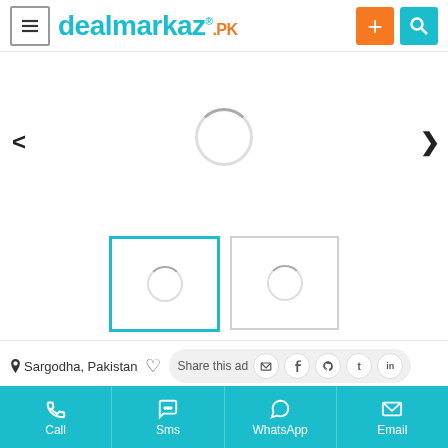[Figure (screenshot): dealmarkaz.pk website header with hamburger menu, logo, plus button and search button]
[Figure (screenshot): Image carousel area with loading spinner and left/right navigation arrows]
[Figure (screenshot): Two thumbnail images below carousel, first one highlighted with teal border, both showing loading spinners]
Sargodha, Pakistan
Share this ad
| Condition | Brand New |
| --- | --- |
Call
Sms
WhatsApp
Email